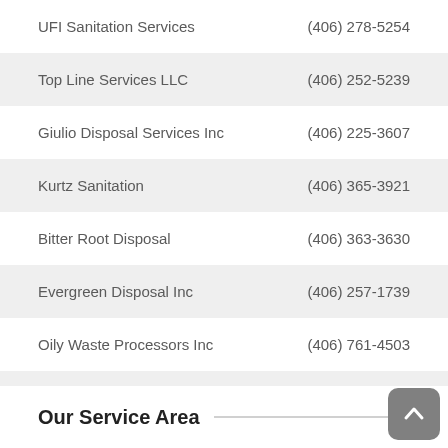UFI Sanitation Services    (406) 278-5254
Top Line Services LLC    (406) 252-5239
Giulio Disposal Services Inc    (406) 225-3607
Kurtz Sanitation    (406) 365-3921
Bitter Root Disposal    (406) 363-3630
Evergreen Disposal Inc    (406) 257-1739
Oily Waste Processors Inc    (406) 761-4503
Green Team Recycling Service    (406) 494-1380
Our Service Area